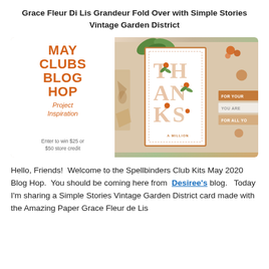Grace Fleur Di Lis Grandeur Fold Over with Simple Stories Vintage Garden District
[Figure (photo): Blog hop promotional banner image. Left side: white panel with bold orange text 'MAY CLUBS BLOG HOP' and italic orange 'Project Inspiration', plus small text 'Enter to win $25 or $50 store credit'. Right side: photo of a handmade card with large decorative letters spelling THANKS with orange flowers and green leaves, set against a warm neutral background with die cut pieces visible. Tags on right read 'FOR YOUR', 'YOU ARE', 'FOR ALL YO'.]
Hello, Friends!  Welcome to the Spellbinders Club Kits May 2020 Blog Hop.  You should be coming here from  Desiree's blog.   Today I'm sharing a Simple Stories Vintage Garden District card made with the Amazing Paper Grace Fleur de Lis